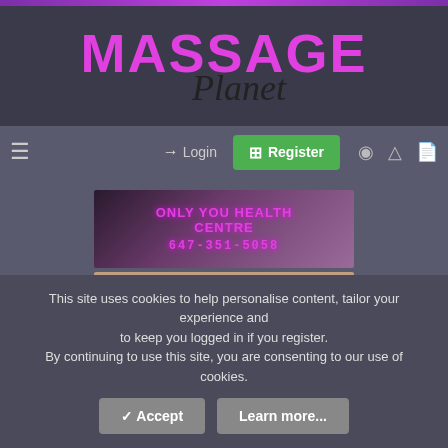[Figure (logo): Massage Planet logo with pink MASSAGE text and cursive Planet below]
[Figure (screenshot): Navigation bar with hamburger menu, Login button, green Register button, and icon buttons]
[Figure (photo): Banner ad for Only You Health Centre with phone number 647-351-5058]
[Figure (photo): Banner ad for Supreme Spa with massage background image]
[Figure (photo): Banner ad for location at Woodbine Ave & Apple Creek, Markham]
This site uses cookies to help personalise content, tailor your experience and to keep you logged in if you register.
By continuing to use this site, you are consenting to our use of cookies.
Accept   Learn more...